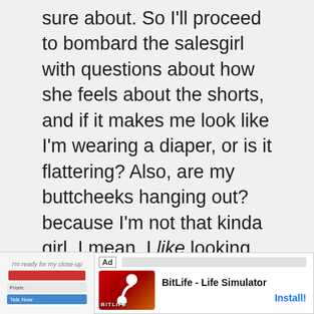sure about. So I'll proceed to bombard the salesgirl with questions about how she feels about the shorts, and if it makes me look like I'm wearing a diaper, or is it flattering? Also, are my buttcheeks hanging out? because I'm not that kinda girl. I mean, I like looking like a pinup but not looking like I have two glazed donuts stuffed in the back of my shorts. And then I'll ramble on and on about the things I could wear with the shorts, like that blazer I have–you know, the black one–or how I could even wear tights and high heels with them despite the fact that my more...
[Figure (logo): Accessibility icon - blue circle with white wheelchair user symbol]
[Figure (screenshot): Ad banner for BitLife - Life Simulator app with Install button]